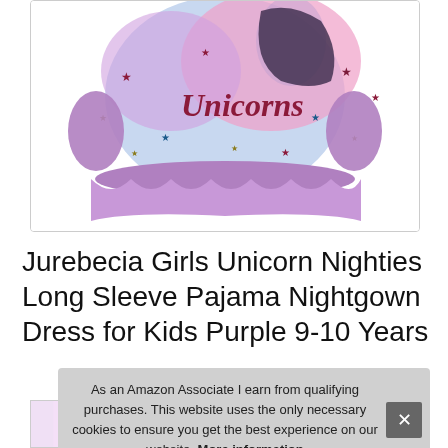[Figure (photo): Product photo of a girls unicorn nightgown dress in purple/pink/blue with stars and unicorn graphic, with ruffled hem.]
Jurebecia Girls Unicorn Nighties Long Sleeve Pajama Nightgown Dress for Kids Purple 9-10 Years
As an Amazon Associate I earn from qualifying purchases. This website uses the only necessary cookies to ensure you get the best experience on our website. More information